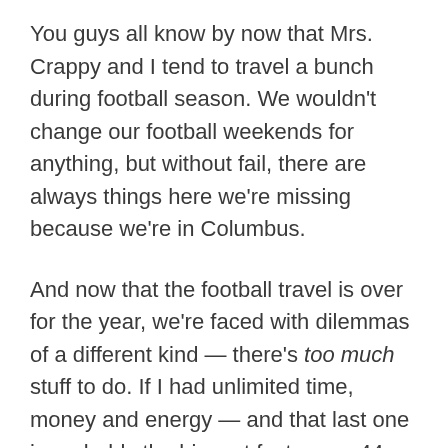You guys all know by now that Mrs. Crappy and I tend to travel a bunch during football season. We wouldn't change our football weekends for anything, but without fail, there are always things here we're missing because we're in Columbus.
And now that the football travel is over for the year, we're faced with dilemmas of a different kind — there's too much stuff to do. If I had unlimited time, money and energy — and that last one is probably the biggest factor; my 44-year-old self needs more sleep than my 34-year-old self did — I would have gone to movie-slash-wing night last night and Bocktown's birthday tonight. I would have figured out something — Dinner? Drinks with friends? — for Wednesday and Thursday